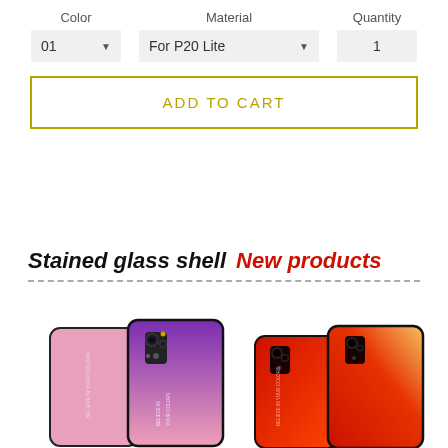Color | Material | Quantity
01 ▼ | For P20 Lite ▼ | 1
ADD TO CART
Stained glass shell  New products
[Figure (photo): Photo of multiple Huawei smartphones with gradient stained glass back covers in purple/pink, red/orange color variants]